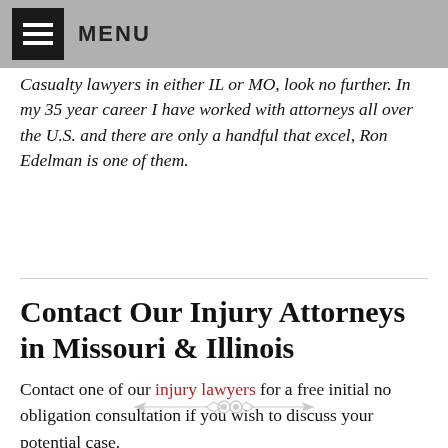MENU
Casualty lawyers in either IL or MO, look no further. In my 35 year career I have worked with attorneys all over the U.S. and there are only a handful that excel, Ron Edelman is one of them.
Read more
Contact Our Injury Attorneys in Missouri & Illinois
Contact one of our injury lawyers for a free initial no obligation consultation if you wish to discuss your potential case.